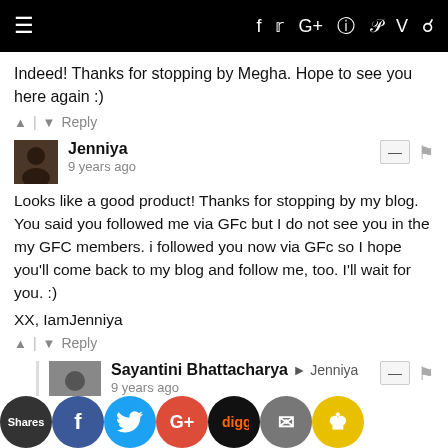☰  f  t  G+  ☰  P  V  🔍
Indeed! Thanks for stopping by Megha. Hope to see you here again :)
▲ | ▼  Reply
Jenniya
9 years ago
Looks like a good product! Thanks for stopping by my blog. You said you followed me via GFc but I do not see you in the my GFC members. i followed you now via GFc so I hope you'll come back to my blog and follow me, too. I'll wait for you. :)

XX, IamJenniya
▲ | ▼  Reply
Sayantini Bhattacharya → Jenniya
9 years ago
Hey Jenniya, glad you liked it. Thank you for following Cherry On Top!
I did follow you, I don't know why I was not following